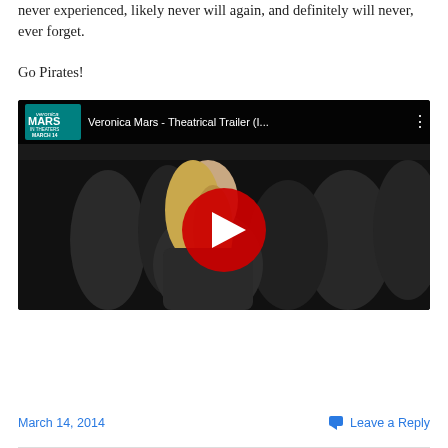never experienced, likely never will again, and definitely will never, ever forget.
Go Pirates!
[Figure (screenshot): YouTube video embed showing Veronica Mars - Theatrical Trailer with a play button overlay. The thumbnail shows a blonde woman in a dark jacket walking in a crowd. The video top bar shows the Veronica Mars logo and title 'Veronica Mars - Theatrical Trailer (I...' with a three-dot menu.]
March 14, 2014    Leave a Reply